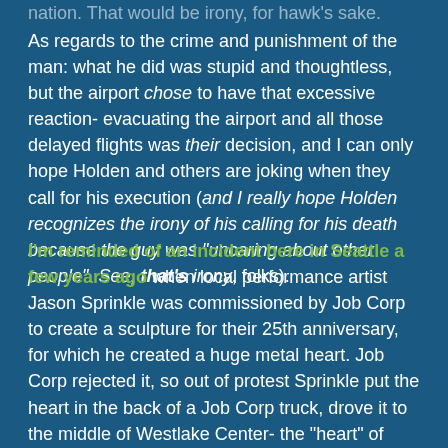nation. That would be irony, for hawk's sake.
As regards to the crime and punishment of the man: what he did was stupid and thoughtless, but the airport chose to have that excessive reaction- evacuating the airport and all those delayed flights was their decision, and I can only hope Holden and others are joking when they call for his execution (and I really hope Holden recognizes the irony of his calling for his death because the guy was "uncaring about other people". See, that's irony, folks).
I'm reminded of an incident here in Seattle a few years ago when local performance artist Jason Sprinkle was commissioned by Job Corp to create a sculpture for their 25th anniversary, for which he created a huge metal heart. Job Corp rejected it, so out of protest Sprinkle put the heart in the back of a Job Corp truck, drove it to the middle of Westlake Center- the "heart" of downtown- and left it there. The truck had graffiti on it: 'Timberlake Carpentry Rules (the